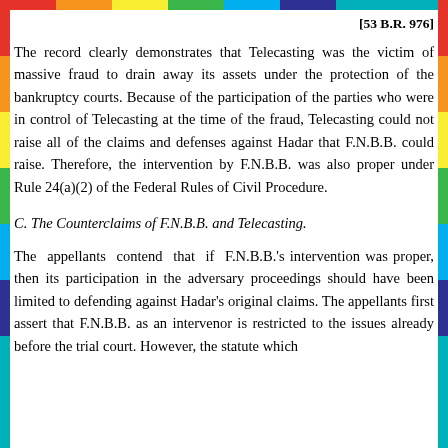[53 B.R. 976]
The record clearly demonstrates that Telecasting was the victim of massive fraud to drain away its assets under the protection of the bankruptcy courts. Because of the participation of the parties who were in control of Telecasting at the time of the fraud, Telecasting could not raise all of the claims and defenses against Hadar that F.N.B.B. could raise. Therefore, the intervention by F.N.B.B. was also proper under Rule 24(a)(2) of the Federal Rules of Civil Procedure.
C. The Counterclaims of F.N.B.B. and Telecasting.
The appellants contend that if F.N.B.B.'s intervention was proper, then its participation in the adversary proceedings should have been limited to defending against Hadar's original claims. The appellants first assert that F.N.B.B. as an intervenor is restricted to the issues already before the trial court. However, the statute which provides for intervention, U.S.C.Sec. (b), also